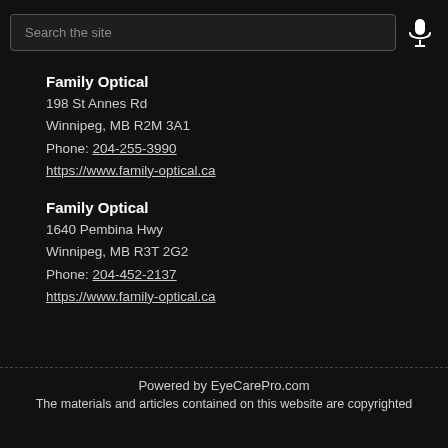[Figure (other): Search bar with text input field showing placeholder 'Search the site' and a microphone icon button on a dark background]
Family Optical
198 St Annes Rd
Winnipeg, MB R2M 3A1
Phone: 204-255-3990
https://www.family-optical.ca
Family Optical
1640 Pembina Hwy
Winnipeg, MB R3T 2G2
Phone: 204-452-2137
https://www.family-optical.ca
Powered by EyeCarePro.com
The materials and articles contained on this website are copyrighted